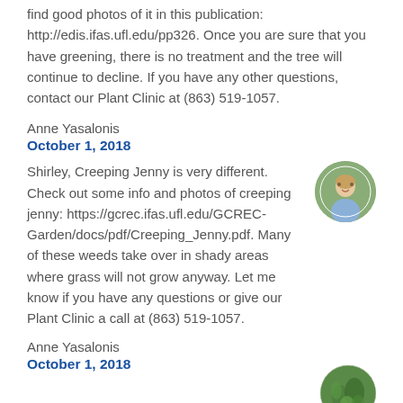find good photos of it in this publication: http://edis.ifas.ufl.edu/pp326. Once you are sure that you have greening, there is no treatment and the tree will continue to decline. If you have any other questions, contact our Plant Clinic at (863) 519-1057.
Anne Yasalonis
October 1, 2018
Shirley, Creeping Jenny is very different. Check out some info and photos of creeping jenny: https://gcrec.ifas.ufl.edu/GCREC-Garden/docs/pdf/Creeping_Jenny.pdf. Many of these weeds take over in shady areas where grass will not grow anyway. Let me know if you have any questions or give our Plant Clinic a call at (863) 519-1057.
[Figure (photo): Circular avatar photo of a woman with blonde hair outdoors]
Anne Yasalonis
October 1, 2018
[Figure (photo): Circular avatar photo showing green plant/foliage]